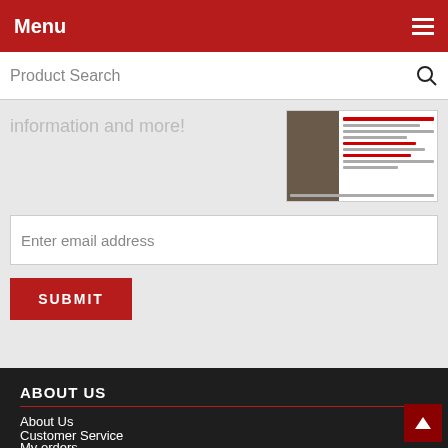Menu
Product Search
information and more!
[Figure (screenshot): Thumbnail of a newsletter or catalog page with a photo and red text items listed]
Enter email address
SUBMIT
ABOUT US
About Us
Customer Service
MY ACCOUNT
My orders